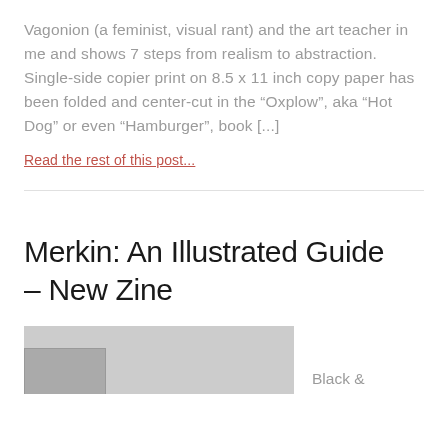Vagonion (a feminist, visual rant) and the art teacher in me and shows 7 steps from realism to abstraction. Single-side copier print on 8.5 x 11 inch copy paper has been folded and center-cut in the “Oxplow”, aka “Hot Dog” or even “Hamburger”, book [...]
Read the rest of this post...
Merkin: An Illustrated Guide – New Zine
[Figure (photo): Partially visible photograph of a zine or book, grayscale, shown at bottom of page. A smaller rectangular shape (possibly a book cover) is visible at the left side.]
Black &